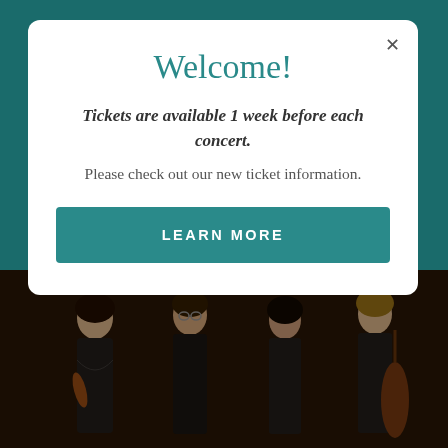Welcome!
Tickets are available 1 week before each concert.
Please check out our new ticket information.
LEARN MORE
[Figure (photo): Four musicians (string quartet) standing together in dark formal attire against a dark background. One holds a violin, another holds a cello/double bass.]